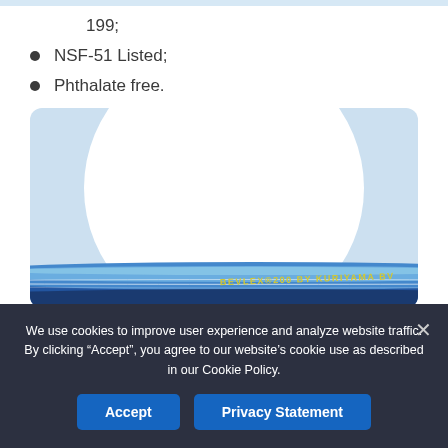199;
NSF-51 Listed;
Phthalate free.
[Figure (photo): Blue reinforced flexible hose (BEVLEX 200 by Kuriyama) coiled, shown against a light blue background with a white circle backdrop.]
We use cookies to improve user experience and analyze website traffic. By clicking "Accept", you agree to our website's cookie use as described in our Cookie Policy.